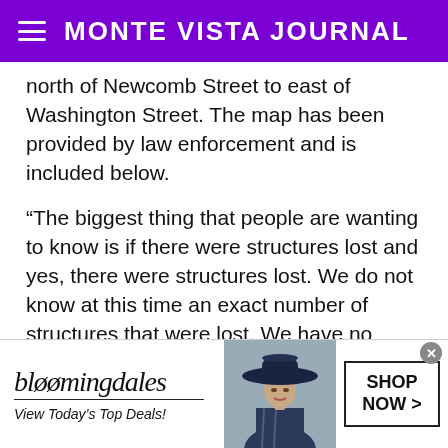MONTE VISTA JOURNAL
north of Newcomb Street to east of Washington Street. The map has been provided by law enforcement and is included below.
“The biggest thing that people are wanting to know is if there were structures lost and yes, there were structures lost. We do not know at this time an exact number of structures that were lost. We have no reports of any injuries or missing persons at this time and that is the best news we are able to share with you right now,” continued Dingfelder. “Anytime you have structures burned in a fire, we have to treat it as a criminal
[Figure (advertisement): Bloomingdale's advertisement showing logo, 'View Today’s Top Deals!', image of woman in hat, and 'SHOP NOW >' button]